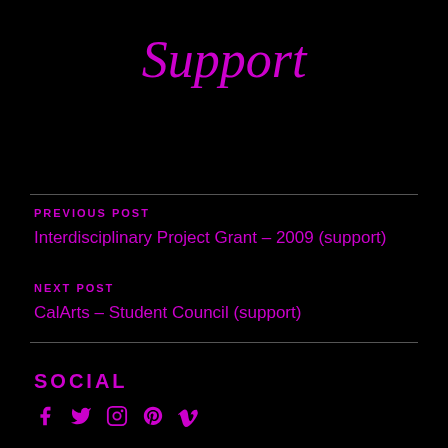Support
PREVIOUS POST
Interdisciplinary Project Grant – 2009 (support)
NEXT POST
CalArts – Student Council (support)
SOCIAL
[Figure (illustration): Social media icons: Facebook, Twitter, Instagram, Pinterest, Vimeo]